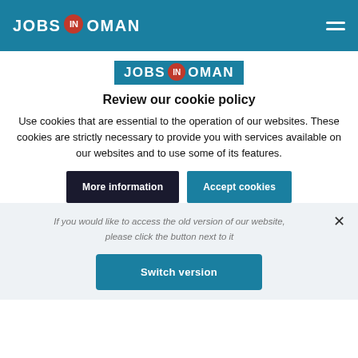JOBS IN OMAN
[Figure (logo): Jobs In Oman logo with red location pin badge on blue background, centered with blue highlight]
Review our cookie policy
Use cookies that are essential to the operation of our websites. These cookies are strictly necessary to provide you with services available on our websites and to use some of its features.
More information
Accept cookies
If you would like to access the old version of our website, please click the button next to it
Switch version